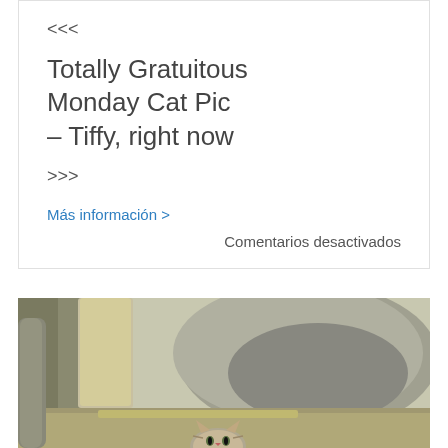<<<
Totally Gratuitous Monday Cat Pic – Tiffy, right now
>>>
Más información >
Comentarios desactivados
[Figure (photo): A cat sitting near large rocks and stone pillars outdoors, partially visible at the bottom of the image]